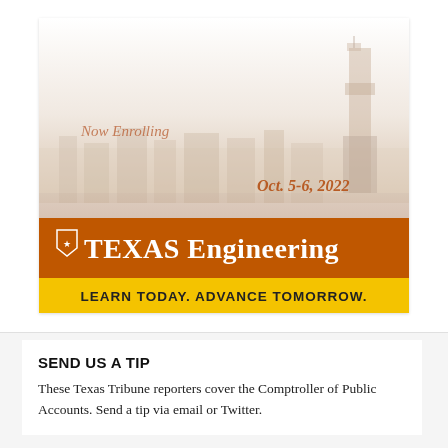[Figure (illustration): Texas Engineering advertisement banner showing a faded aerial cityscape background with the UT Tower silhouette on the right. Text 'Now Enrolling' appears in orange/burnt orange on the upper left portion. 'Oct. 5-6, 2022' appears in orange italic text on the right mid-section. A burnt orange horizontal bar contains the Texas Longhorns shield logo and 'TEXAS Engineering' in white text. Below that, a gold/yellow bar reads 'LEARN TODAY. ADVANCE TOMORROW.' in bold dark text.]
SEND US A TIP
These Texas Tribune reporters cover the Comptroller of Public Accounts. Send a tip via email or Twitter.